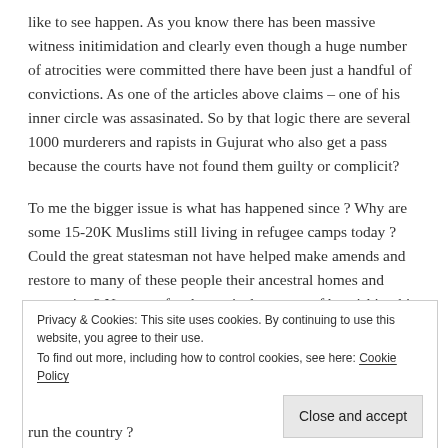like to see happen. As you know there has been massive witness initimidation and clearly even though a huge number of atrocities were committed there have been just a handful of convictions. As one of the articles above claims – one of his inner circle was assasinated. So by that logic there are several 1000 murderers and rapists in Gujurat who also get a pass because the courts have not found them guilty or complicit?
To me the bigger issue is what has happened since ? Why are some 15-20K Muslims still living in refugee camps today ? Could the great statesman not have helped make amends and restore to many of these people their ancestral homes and properties ? Not even for the cynical purpose of burnishing his image and
Privacy & Cookies: This site uses cookies. By continuing to use this website, you agree to their use.
To find out more, including how to control cookies, see here: Cookie Policy
Close and accept
run the country ?